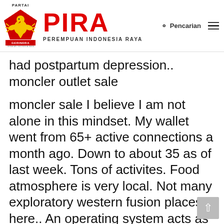[Figure (logo): PARTAI GERINDRA logo with Garuda bird on red pentagon shield, and PIRA (Perempuan Indonesia Raya) brand name in red]
had postpartum depression.. moncler outlet sale
moncler sale I believe I am not alone in this mindset. My wallet went from 65+ active connections a month ago. Down to about 35 as of last week. Tons of activites. Food atmosphere is very local. Not many exploratory western fusion places here.. An operating system acts as an application interface to the hardware. The OS does this through an application program interface (API). Program developers build